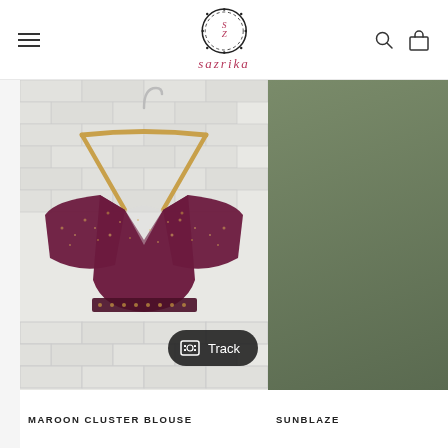sazrika — navigation header with hamburger menu, logo, search and cart icons
[Figure (photo): Maroon cluster blouse with gold embroidery/sequin work hanging on a wooden hanger against a white brick wall. A black pill-shaped 'Track' badge overlays the bottom-right of the image.]
MAROON CLUSTER BLOUSE
[Figure (photo): Partial view of a product (Sunblaze) with olive/army green color background, cropped at right edge.]
SUNBLAZE